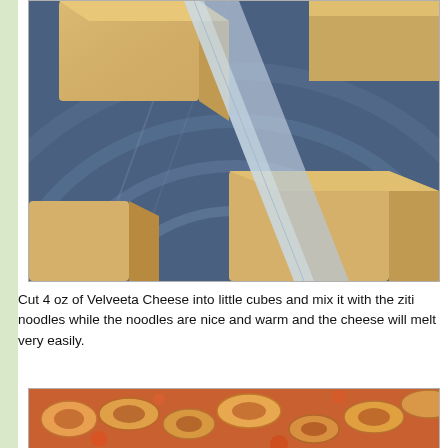[Figure (photo): Close-up photo of Velveeta cheese blocks cut into cubes on a blue plate/surface]
Cut 4 oz of Velveeta Cheese into little cubes and mix it with the ziti noodles while the noodles are nice and warm and the cheese will melt very easily.
[Figure (photo): Photo of ziti noodles mixed with melted cheese and tomato sauce]